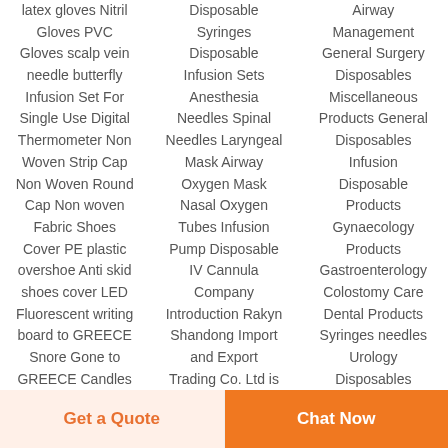latex gloves Nitril Gloves PVC Gloves scalp vein needle butterfly Infusion Set For Single Use Digital Thermometer Non Woven Strip Cap Non Woven Round Cap Non woven Fabric Shoes Cover PE plastic overshoe Anti skid shoes cover LED Fluorescent writing board to GREECE Snore Gone to GREECE Candles to GREECE Sho...
Disposable Syringes Disposable Infusion Sets Anesthesia Needles Spinal Needles Laryngeal Mask Airway Oxygen Mask Nasal Oxygen Tubes Infusion Pump Disposable IV Cannula Company Introduction Rakyn Shandong Import and Export Trading Co. Ltd is...
Airway Management General Surgery Disposables Miscellaneous Products General Disposables Infusion Disposable Products Gynaecology Products Gastroenterology Colostomy Care Dental Products Syringes needles Urology Disposables Denta...
Get a Quote
Chat Now